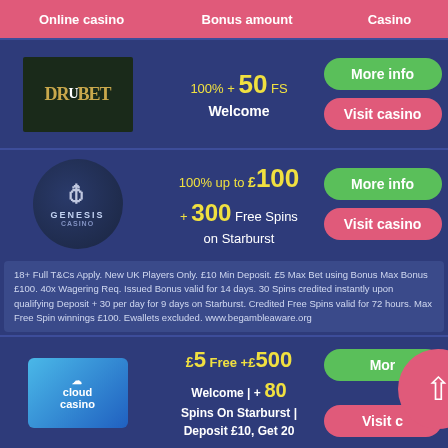| Online casino | Bonus amount | Casino |
| --- | --- | --- |
| DrBet logo | 100% + 50 FS Welcome | More info | Visit casino |
| Genesis Casino logo | 100% up to £100 + 300 Free Spins on Starburst | More info | Visit casino |
| Cloud Casino logo | £5 Free +£500 Welcome | + 80 Spins On Starburst | Deposit £10, Get 20 | More info | Visit casino |
18+ Full T&Cs Apply. New UK Players Only. £10 Min Deposit. £5 Max Bet using Bonus Max Bonus £100. 40x Wagering Req. Issued Bonus valid for 14 days. 30 Spins credited instantly upon qualifying Deposit + 30 per day for 9 days on Starburst. Credited Free Spins valid for 72 hours. Max Free Spin winnings £100. Ewallets excluded. www.begambleaware.org